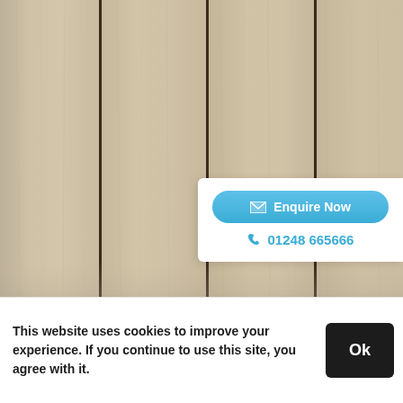[Figure (photo): Close-up photo of light beige/tan wood-grain composite decking or cladding panels with narrow dark gaps between vertical planks]
Enquire Now
01248 665666
This website uses cookies to improve your experience. If you continue to use this site, you agree with it.
Ok